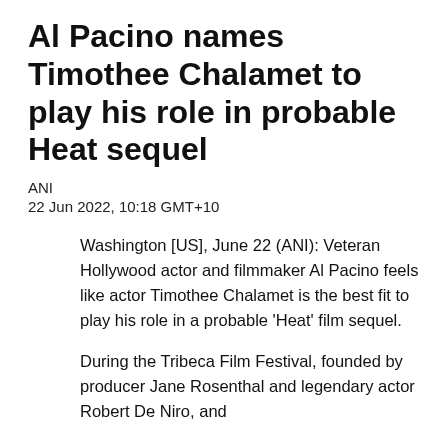Al Pacino names Timothee Chalamet to play his role in probable Heat sequel
ANI
22 Jun 2022, 10:18 GMT+10
Washington [US], June 22 (ANI): Veteran Hollywood actor and filmmaker Al Pacino feels like actor Timothee Chalamet is the best fit to play his role in a probable 'Heat' film sequel.
During the Tribeca Film Festival, founded by producer Jane Rosenthal and legendary actor Robert De Niro, and...